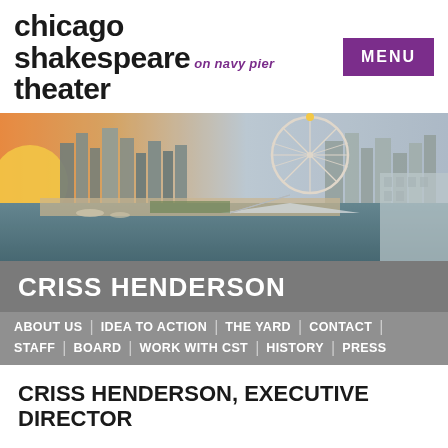[Figure (logo): Chicago Shakespeare Theater on Navy Pier logo — black bold serif text with purple italic 'on navy pier' subtitle]
[Figure (photo): Aerial photograph of Navy Pier in Chicago at sunset, showing the Ferris wheel, city skyline, and waterfront]
CRISS HENDERSON
ABOUT US | IDEA TO ACTION | THE YARD | CONTACT |
STAFF | BOARD | WORK WITH CST | HISTORY | PRESS
CRISS HENDERSON, EXECUTIVE DIRECTOR